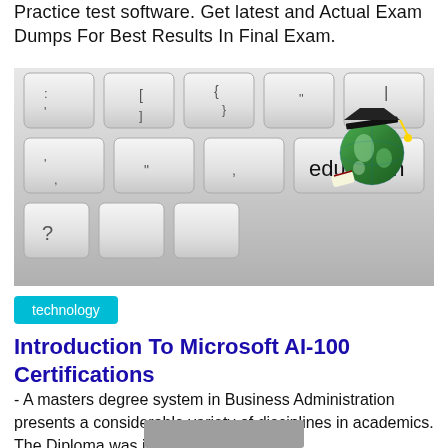Practice test software. Get latest and Actual Exam Dumps For Best Results In Final Exam.
[Figure (photo): Keyboard with a globe wearing a graduation cap on the 'education' key, symbolizing online education and certifications.]
technology
Introduction To Microsoft AI-100 Certifications
- A masters degree system in Business Administration presents a considerable variety of disciplines in academics. The Diploma was initially